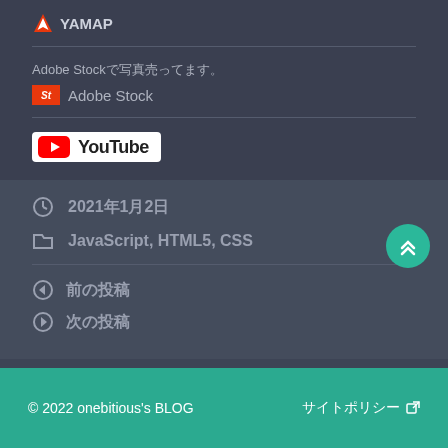YAMAP
Adobe Stockで写真売ってます。
Adobe Stock
[Figure (logo): YouTube logo with red play button icon and black YouTube text on white background]
2021年1月2日
JavaScript, HTML5, CSS
前の投稿
次の投稿
© 2022 onebitious's BLOG　　サイトポリシー